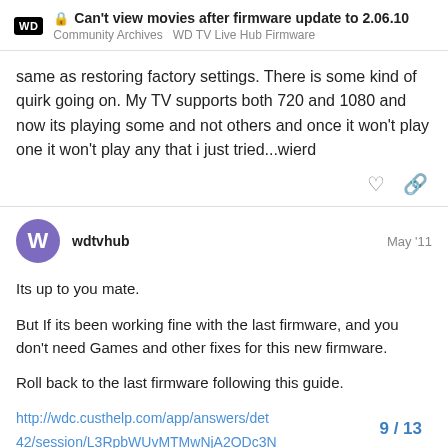Can't view movies after firmware update to 2.06.10 | Community Archives  WD TV Live Hub Firmware
same as restoring factory settings. There is some kind of quirk going on. My TV supports both 720 and 1080 and now its playing some and not others and once it won't play one it won't play any that i just tried...wierd
wdtvhub  May '11

Its up to you mate.

But If its been working fine with the last firmware, and you don't need Games and other fixes for this new firmware.

Roll back to the last firmware following this guide.

http://wdc.custhelp.com/app/answers/det 42/session/L3RpbWUvMTMwNjA2ODc3N
9 / 13